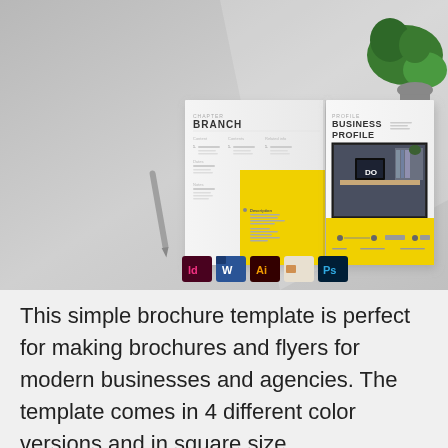[Figure (photo): Brochure template mockup showing an open bifold brochure with 'BRANCH' on left side and 'BUSINESS PROFILE' on right side, displayed on a gray surface next to a green plant. Software compatibility icons shown below (InDesign, Word, Illustrator, Canva, Photoshop).]
This simple brochure template is perfect for making brochures and flyers for modern businesses and agencies. The template comes in 4 different color versions and in square size.